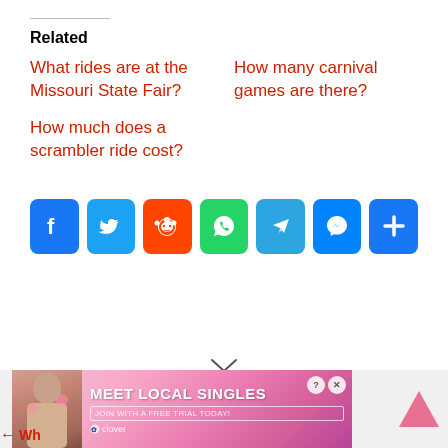Related
What rides are at the Missouri State Fair?
How many carnival games are there?
How much does a scrambler ride cost?
[Figure (other): Social sharing buttons: Facebook, Twitter, Reddit, WhatsApp, Telegram, Messenger, Share]
[Figure (other): Advertisement banner: Meet Local Singles - Clover dating app ad with photo of woman]